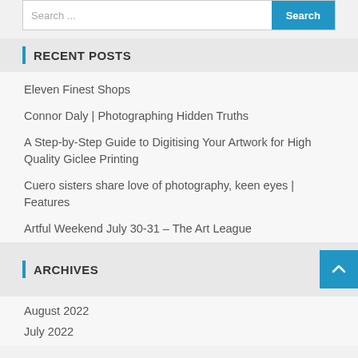[Figure (screenshot): Search bar with input field and blue Search button]
RECENT POSTS
Eleven Finest Shops
Connor Daly | Photographing Hidden Truths
A Step-by-Step Guide to Digitising Your Artwork for High Quality Giclee Printing
Cuero sisters share love of photography, keen eyes | Features
Artful Weekend July 30-31 – The Art League
ARCHIVES
August 2022
July 2022